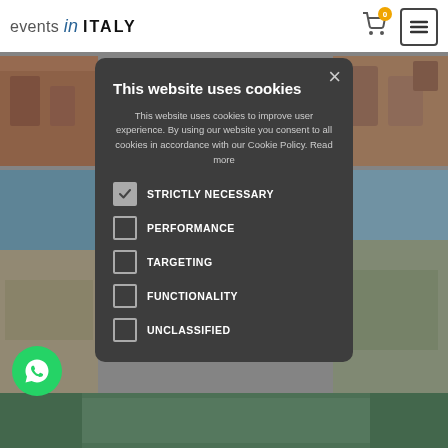[Figure (screenshot): Events in Italy website header with logo, cart icon (badge 0), and hamburger menu button]
[Figure (screenshot): Background page showing aerial beach and coastal images, dimmed by modal overlay]
This website uses cookies
This website uses cookies to improve user experience. By using our website you consent to all cookies in accordance with our Cookie Policy. Read more
STRICTLY NECESSARY (checked)
PERFORMANCE
TARGETING
FUNCTIONALITY
UNCLASSIFIED